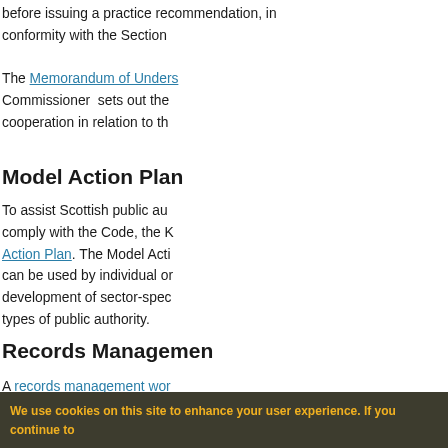before issuing a practice recommendation, in conformity with the Section…
The Memorandum of Understanding… Commissioner sets out the… cooperation in relation to th…
Model Action Plan
To assist Scottish public au… comply with the Code, the K… Action Plan. The Model Acti… can be used by individual or… development of sector-spec… types of public authority.
Records Managemen…
A records management wor…
We use cookies on this site to enhance your user experience. If you continue to